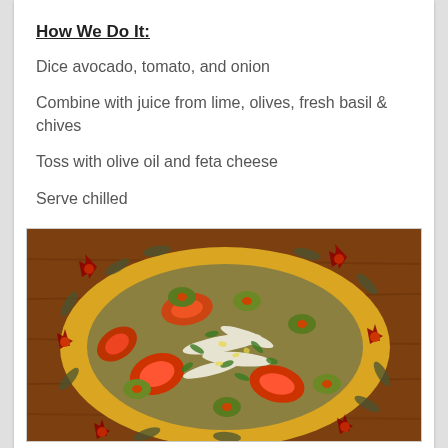How We Do It:
Dice avocado, tomato, and onion
Combine with juice from lime, olives, fresh basil & chives
Toss with olive oil and feta cheese
Serve chilled
[Figure (photo): A colorful salad with tomatoes, green olives, onion, fresh herbs, and feta cheese served on a decorative yellow plate with floral pattern, placed on a wooden surface.]